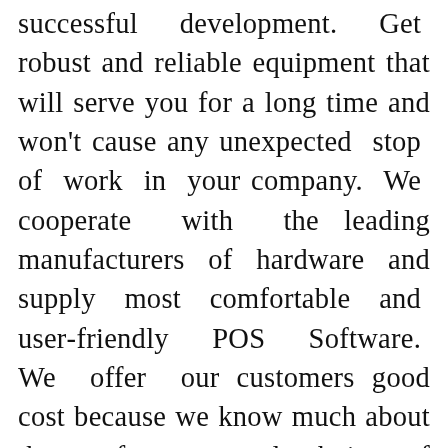successful development. Get robust and reliable equipment that will serve you for a long time and won't cause any unexpected stop of work in your company. We cooperate with the leading manufacturers of hardware and supply most comfortable and user-friendly POS Software. We offer our customers good cost because we know much about the preferences and choice of clients. Of course, it can be that you don't have enough information about POS for all businesses in general and need a professional consultation of a specialist, who would answer all your questions. All our clients have an